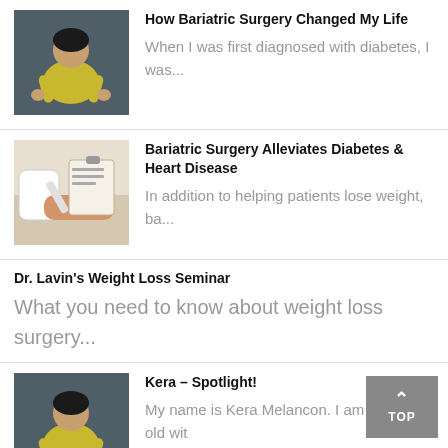[Figure (photo): Woman in yellow top, hands on hips, dark background]
How Bariatric Surgery Changed My Life
When I was first diagnosed with diabetes, I was...
[Figure (photo): Medical professional with patient, hands shown, diagnostic setting]
Bariatric Surgery Alleviates Diabetes & Heart Disease
In addition to helping patients lose weight, ba...
Dr. Lavin's Weight Loss Seminar
What you need to know about weight loss surgery...
[Figure (photo): Woman in yellow top, hands on hips]
Kera – Spotlight!
My name is Kera Melancon. I am 34 years old wit